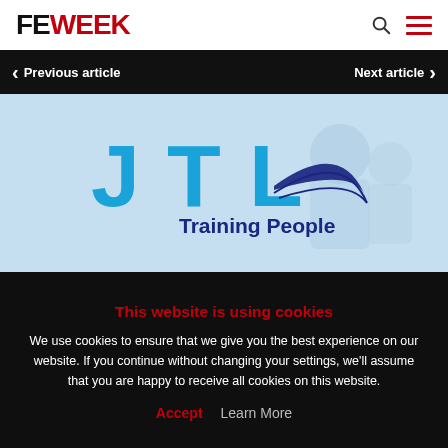FE WEEK
Previous article
Next article
[Figure (logo): JTL Training People logo — blue letters JTL with navy swoosh and 'Training People' text, on light blue background with faded office scene]
This website is using cookies
We use cookies to ensure that we give you the best experience on our website. If you continue without changing your settings, we'll assume that you are happy to receive all cookies on this website.
Accept  Learn More